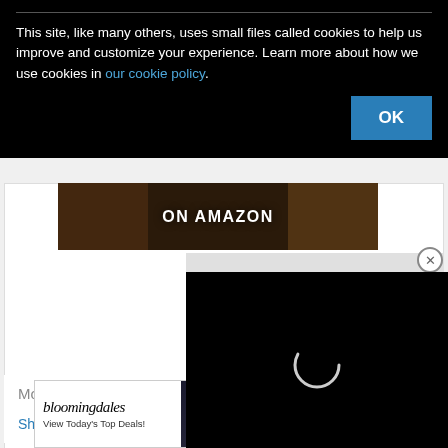This site, like many others, uses small files called cookies to help us improve and customize your experience. Learn more about how we use cookies in our cookie policy.
[Figure (screenshot): Black cookie consent overlay with OK button]
[Figure (photo): Amazon advertisement banner with ON AMAZON text over dark food background]
[Figure (screenshot): Black video player popup with spinning loading arc indicator]
Most voted fights
Shogun Rua vs Henderson  CLOSE
[Figure (screenshot): Bloomingdales advertisement: View Today's Top Deals! SHOP NOW >]